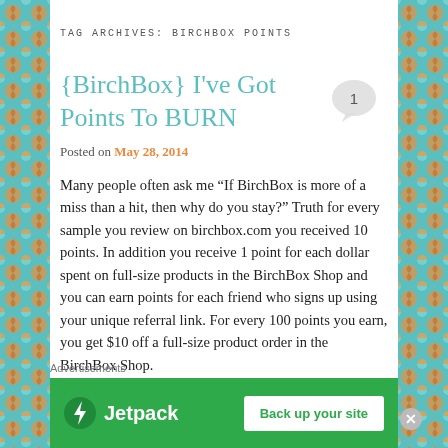TAG ARCHIVES: BIRCHBOX POINTS
{BirchBox} I've Got Points To BURN
Posted on May 28, 2014
Many people often ask me “If BirchBox is more of a miss than a hit, then why do you stay?” Truth for every sample you review on birchbox.com you received 10 points. In addition you receive 1 point for each dollar spent on full-size products in the BirchBox Shop and you can earn points for each friend who signs up using your unique referral link. For every 100 points you earn, you get $10 off a full-size product order in the BirchBox Shop.
Advertisements
[Figure (other): Jetpack advertisement banner with green background, Jetpack logo and lightning bolt icon on left, and 'Back up your site' white button on right]